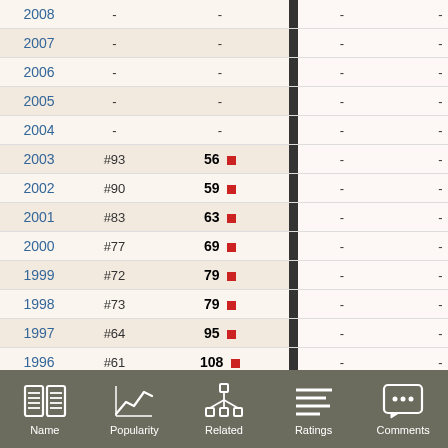| Year | Rank | Value |  | Col5 | Col6 |
| --- | --- | --- | --- | --- | --- |
| 2008 | - | - |  | - | - |
| 2007 | - | - |  | - | - |
| 2006 | - | - |  | - | - |
| 2005 | - | - |  | - | - |
| 2004 | - | - |  | - | - |
| 2003 | #93 | 56 |  | - | - |
| 2002 | #90 | 59 |  | - | - |
| 2001 | #83 | 63 |  | - | - |
| 2000 | #77 | 69 |  | - | - |
| 1999 | #72 | 79 |  | - | - |
| 1998 | #73 | 79 |  | - | - |
| 1997 | #64 | 95 |  | - | - |
| 1996 | #61 | 108 |  | - | - |
Name  Popularity  Related  Ratings  Comments